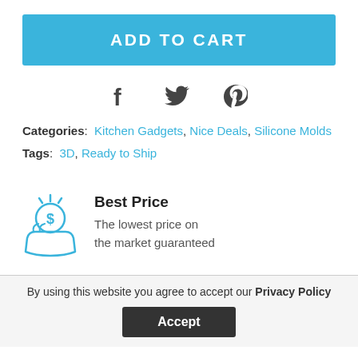ADD TO CART
[Figure (infographic): Social share icons: Facebook (f), Twitter (bird), Pinterest (p)]
Categories: Kitchen Gadgets, Nice Deals, Silicone Molds
Tags: 3D, Ready to Ship
[Figure (illustration): Best Price icon: a hand holding a coin with dollar sign and sparkle lines above]
Best Price
The lowest price on the market guaranteed
By using this website you agree to accept our Privacy Policy
Accept